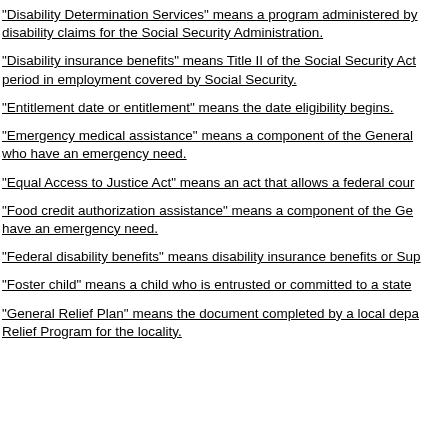"Disability Determination Services" means a program administered by disability claims for the Social Security Administration.
"Disability insurance benefits" means Title II of the Social Security Act period in employment covered by Social Security.
"Entitlement date or entitlement" means the date eligibility begins.
"Emergency medical assistance" means a component of the General who have an emergency need.
"Equal Access to Justice Act" means an act that allows a federal cour
"Food credit authorization assistance" means a component of the Ge have an emergency need.
"Federal disability benefits" means disability insurance benefits or Sup
"Foster child" means a child who is entrusted or committed to a state
"General Relief Plan" means the document completed by a local depa Relief Program for the locality.